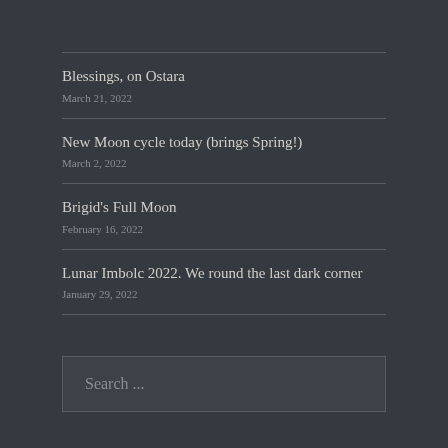Blessings, on Ostara
March 21, 2022
New Moon cycle today (brings Spring!)
March 2, 2022
Brigid's Full Moon
February 16, 2022
Lunar Imbolc 2022. We round the last dark corner
January 29, 2022
Search ...